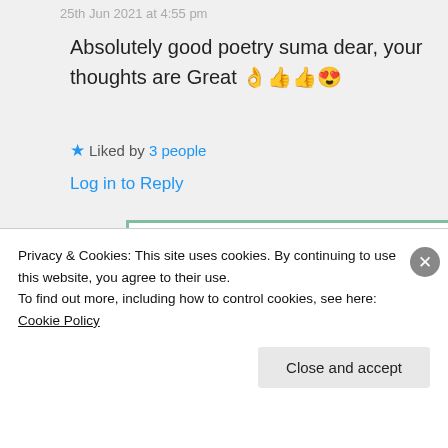25th Jun 2021 at 4:55 pm
Absolutely good poetry suma dear, your thoughts are Great 👌👍👍😍
★ Liked by 3 people
Log in to Reply
Suma Reddy
25th Jun 2021 at 6:24 pm
Privacy & Cookies: This site uses cookies. By continuing to use this website, you agree to their use.
To find out more, including how to control cookies, see here: Cookie Policy
Close and accept